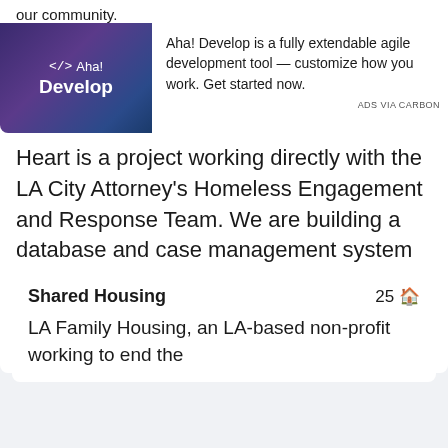our community.
[Figure (logo): Aha! Develop logo on dark purple-blue gradient background with '</>' bracket icon]
Aha! Develop is a fully extendable agile development tool — customize how you work. Get started now.
ADS VIA CARBON
Heart is a project working directly with the LA City Attorney's Homeless Engagement and Response Team. We are building a database and case management system to streamline their workflow and enable them to scale their program. Find us on the Hack for LA Slack #heart.
Shared Housing
25 🏠
LA Family Housing, an LA-based non-profit working to end the